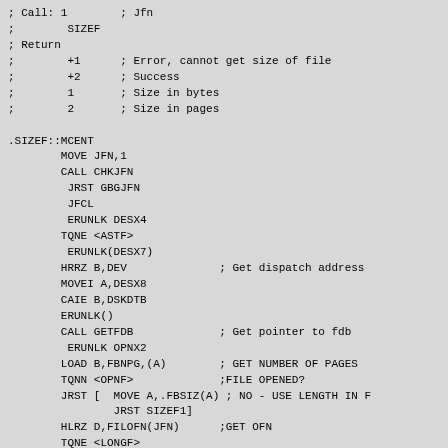; Call: 1        ; Jfn
;        SIZEF
; Return
;        +1      ; Error, cannot get size of file
;        +2      ; Success
;        1       ; Size in bytes
;        2       ; Size in pages

.SIZEF::MCENT
        MOVE JFN,1
        CALL CHKJFN
         JRST GBGJFN
         JFCL
         ERUNLK DESX4
        TQNE <ASTF>
         ERUNLK(DESX7)
        HRRZ B,DEV              ; Get dispatch address
        MOVEI A,DESX8
        CAIE B,DSKDTB
        ERUNLK()
        CALL GETFDB             ; Get pointer to fdb
         ERUNLK OPNX2
        LOAD B,FBNPG,(A)        ; GET NUMBER OF PAGES
        TQNN <OPNF>             ;FILE OPENED?
        JRST [  MOVE A,.FBSIZ(A) ; NO - USE LENGTH IN F
                JRST SIZEF1]
        HLRZ D,FILOFN(JFN)      ;GET OFN
        TQNE <LONGF>
        HRRZ D,FILOFN(JFN)      ;USE THIS IF LONG FILE
        LOAD A,OFNBC,(D)        ;GET FILE LENGTH
SIZEF1: HMOVEM A,2